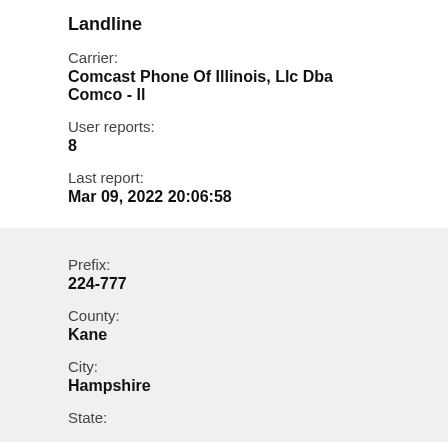Landline
Carrier:
Comcast Phone Of Illinois, Llc Dba Comco - Il
User reports:
8
Last report:
Mar 09, 2022 20:06:58
Prefix:
224-777
County:
Kane
City:
Hampshire
State: